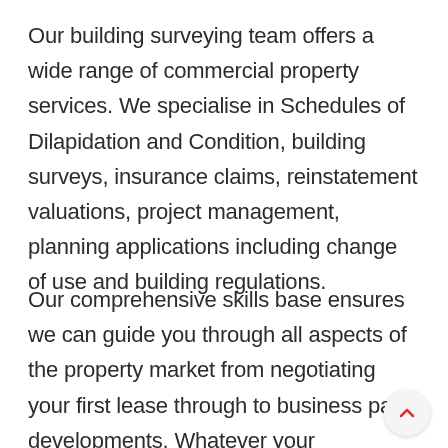Our building surveying team offers a wide range of commercial property services. We specialise in Schedules of Dilapidation and Condition, building surveys, insurance claims, reinstatement valuations, project management, planning applications including change of use and building regulations.
Our comprehensive skills base ensures we can guide you through all aspects of the property market from negotiating your first lease through to business park developments. Whatever your commercial property